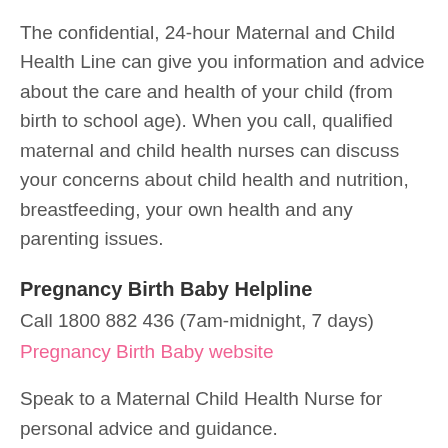The confidential, 24-hour Maternal and Child Health Line can give you information and advice about the care and health of your child (from birth to school age). When you call, qualified maternal and child health nurses can discuss your concerns about child health and nutrition, breastfeeding, your own health and any parenting issues.
Pregnancy Birth Baby Helpline
Call 1800 882 436 (7am-midnight, 7 days)
Pregnancy Birth Baby website
Speak to a Maternal Child Health Nurse for personal advice and guidance.